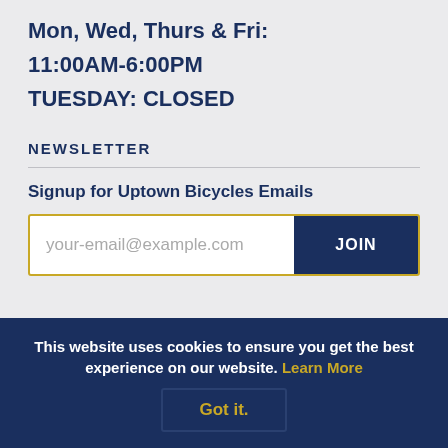Mon, Wed, Thurs & Fri:
11:00AM-6:00PM
TUESDAY: CLOSED
NEWSLETTER
Signup for Uptown Bicycles Emails
your-email@example.com
JOIN
This website uses cookies to ensure you get the best experience on our website. Learn More
Got it.